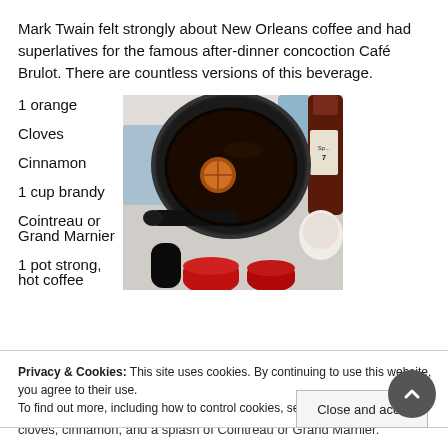Mark Twain felt strongly about New Orleans coffee and had superlatives for the famous after-dinner concoction Café Brulot. There are countless versions of this beverage.
1 orange
Cloves
Cinnamon
1 cup brandy
Cointreau or Grand Marnier
1 pot strong, hot coffee
[Figure (photo): A saucepan on a kitchen counter with a dark liquid mixture containing orange slices and spices, surrounded by bottles and red cups.]
Privacy & Cookies: This site uses cookies. By continuing to use this website, you agree to their use. To find out more, including how to control cookies, see here: Cookie Policy
cloves, cinnamon, and a splash of Cointreau or Grand Marnier.